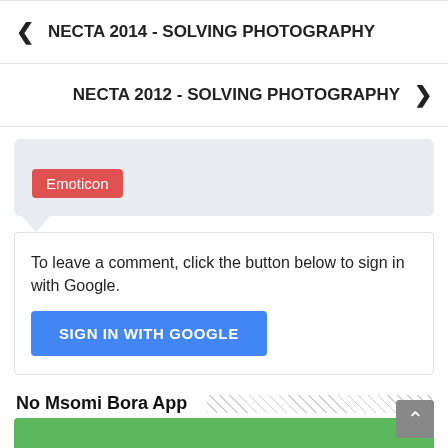< NECTA 2014 - SOLVING PHOTOGRAPHY
NECTA 2012 - SOLVING PHOTOGRAPHY >
[Figure (screenshot): Comment input area with light gray background, a red Emoticon button, and a speech bubble tail pointing down.]
To leave a comment, click the button below to sign in with Google.
SIGN IN WITH GOOGLE
No Msomi Bora App
[Figure (screenshot): Green bar at the bottom of the page, partially visible, indicating an app download or promotional banner.]